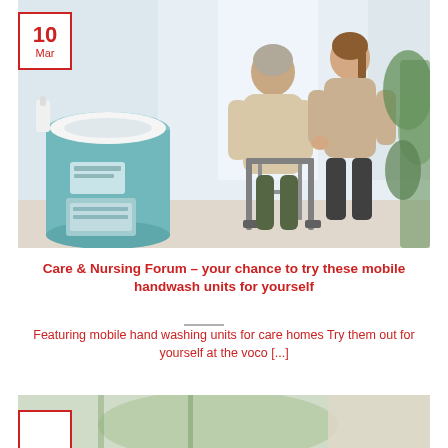[Figure (photo): Photo of a nurse helping an elderly woman with a walker indoors, with a mobile handwash unit (teal cylindrical sink) in the foreground left. Date badge showing '10 Mar' overlaid in top-left corner.]
Care & Nursing Forum – your chance to try these mobile handwash units for yourself
Featuring mobile hand washing units for care homes Try them out for yourself at the voco [...]
[Figure (photo): Partial bottom photo showing indoor scene with plants and a date badge partially visible in bottom-left.]